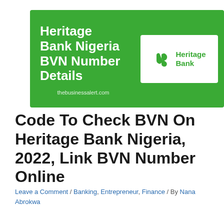[Figure (infographic): Green banner with white bold text reading 'Heritage Bank Nigeria BVN Number Details' on the left, and a white box on the right containing the Heritage Bank logo (stylized HB icon in green) with 'Heritage Bank' text in green. URL 'thebusinessalert.com' shown at bottom of banner.]
Code To Check BVN On Heritage Bank Nigeria, 2022, Link BVN Number Online
Leave a Comment / Banking, Entrepreneur, Finance / By Nana Abrokwa